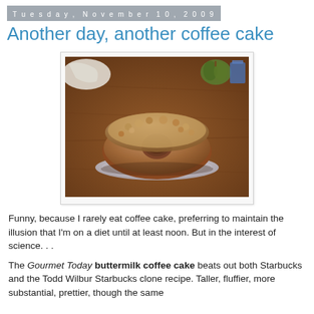Tuesday, November 10, 2009
Another day, another coffee cake
[Figure (photo): A bundt-style coffee cake with crumb topping, sitting on a glass cake stand on a wooden table. A small green pumpkin and blue chair are visible in the background.]
Funny, because I rarely eat coffee cake, preferring to maintain the illusion that I'm on a diet until at least noon. But in the interest of science. . .
The Gourmet Today buttermilk coffee cake beats out both Starbucks and the Todd Wilbur Starbucks clone recipe. Taller, fluffier, more substantial, prettier, though the same